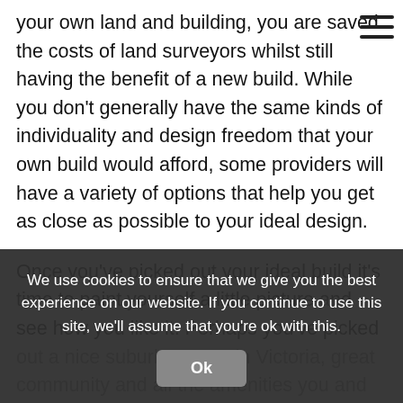[hamburger menu icon]
your own land and building, you are saved the costs of land surveyors whilst still having the benefit of a new build. While you don't generally have the same kinds of individuality and design freedom that your own build would afford, some providers will have a variety of options that help you get as close as possible to your ideal design.
Once you've picked out your ideal build it's time to paint yourself a little picture and see how you like it. Perhaps you've picked out a nice suburban area in Victoria, great community and all the amenities you and your family (if you have one) will need, you've factored in the back garden for that dog you've always wanted, you've had extensive consultations with house builders Melbourne know and trust leaving you feeling confident in your decision. It's time to make the purchase.
We use cookies to ensure that we give you the best experience on our website. If you continue to use this site, we'll assume that you're ok with this.